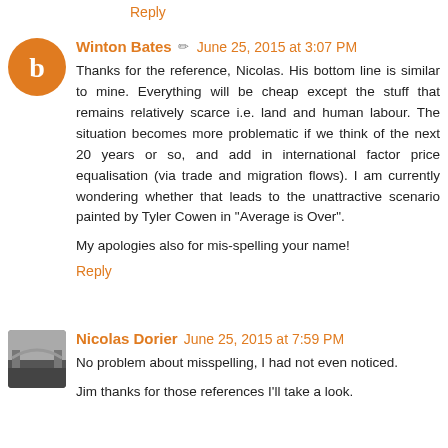Reply
Winton Bates
June 25, 2015 at 3:07 PM
Thanks for the reference, Nicolas. His bottom line is similar to mine. Everything will be cheap except the stuff that remains relatively scarce i.e. land and human labour. The situation becomes more problematic if we think of the next 20 years or so, and add in international factor price equalisation (via trade and migration flows). I am currently wondering whether that leads to the unattractive scenario painted by Tyler Cowen in "Average is Over".
My apologies also for mis-spelling your name!
Reply
Nicolas Dorier
June 25, 2015 at 7:59 PM
No problem about misspelling, I had not even noticed.
Jim thanks for those references I'll take a look.